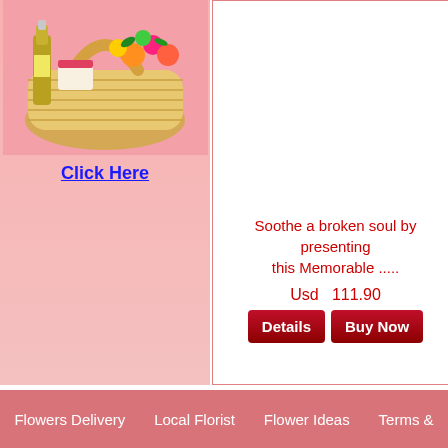[Figure (photo): Gift basket with champagne bottle, flowers, and chocolates on pink background]
Click Here
[Figure (photo): Product image placeholder (white area)]
Soothe a broken soul by presenting this Memorable .....
Usd  111.90
Details
Buy Now
[Figure (photo): Second product image placeholder (white area, cropped)]
Exception... a...
De...
Quick France city links :
New Year Flowers Créteil , Buy Wine Villefranche-de-Rouergue , Kids Gifts to Saint-Nazaire , Cham... Isère , Birthday Hamper to Roubaix , Valentine's Day Gifts Melun , Holiday Hamper to Nîmes , Anni... Mother's Day gifts Foix , Chocolates Delivery Koenigsmacker , Roses to Toulouse , Gifts Le Puy-en-...
Flowers Delivery   Local Florist   Flower Ideas   Terms &